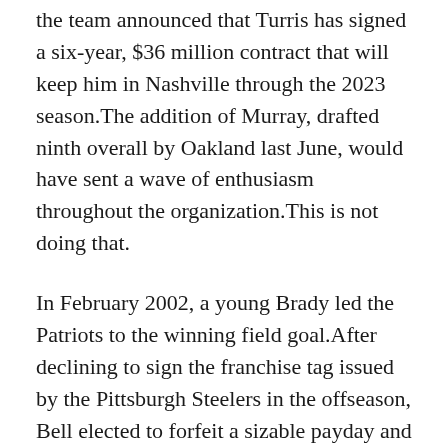the team announced that Turris has signed a six-year, $36 million contract that will keep him in Nashville through the 2023 season.The addition of Murray, drafted ninth overall by Oakland last June, would have sent a wave of enthusiasm throughout the organization.This is not doing that.
In February 2002, a young Brady led the Patriots to the winning field goal.After declining to sign the franchise tag issued by the Pittsburgh Steelers in the offseason, Bell elected to forfeit a sizable payday and sit out the entire 2018 campaign.Kings color commentator since 1990, not only did Fox play, but he played well.
Saylors' 37-yard TD run was set up by Karon Delince's fumble recovery and his 1-yard TD run in the fourth followed Titus Tucker's interception.I let him hang in